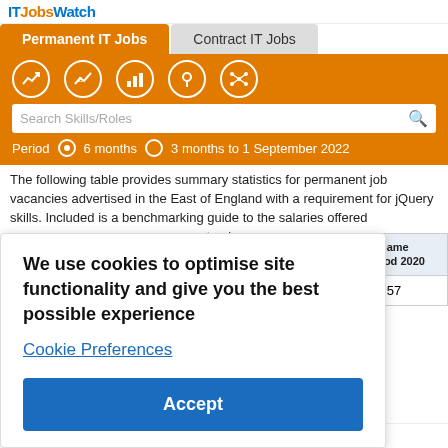ITJobsWatch
Permanent IT Jobs   Contract IT Jobs
Search Skills/Roles   Period  6 months  3 months to 1 September 2022
The following table provides summary statistics for permanent job vacancies advertised in the East of England with a requirement for jQuery skills. Included is a benchmarking guide to the salaries offered ... eptember ... years.
We use cookies to optimise site functionality and give you the best possible experience
Cookie Preferences
Accept
| Same Period 2020 |
| --- |
| 57 |
Rank change year on year  ▼ 15  ▼ 100  ▲ 43